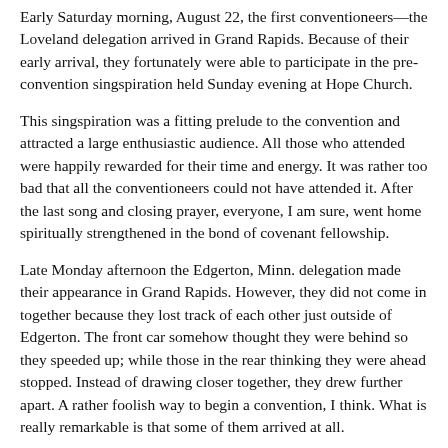Early Saturday morning, August 22, the first conventioneers—the Loveland delegation arrived in Grand Rapids. Because of their early arrival, they fortunately were able to participate in the pre-convention singspiration held Sunday evening at Hope Church.
This singspiration was a fitting prelude to the convention and attracted a large enthusiastic audience. All those who attended were happily rewarded for their time and energy. It was rather too bad that all the conventioneers could not have attended it. After the last song and closing prayer, everyone, I am sure, went home spiritually strengthened in the bond of covenant fellowship.
Late Monday afternoon the Edgerton, Minn. delegation made their appearance in Grand Rapids. However, they did not come in together because they lost track of each other just outside of Edgerton. The front car somehow thought they were behind so they speeded up; while those in the rear thinking they were ahead stopped. Instead of drawing closer together, they drew further apart. A rather foolish way to begin a convention, I think. What is really remarkable is that some of them arrived at all.